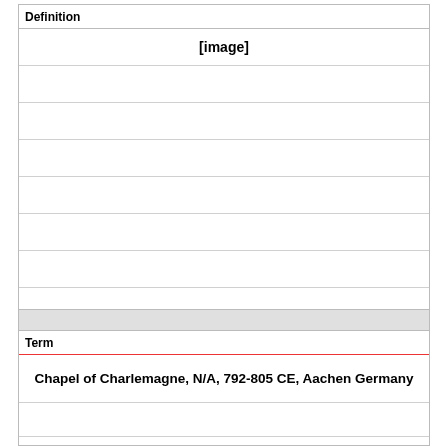Definition
[Figure (other): [image] placeholder in definition section]
Term
Chapel of Charlemagne, N/A, 792-805 CE, Aachen Germany